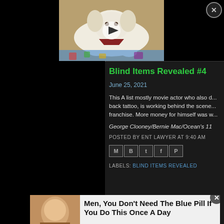[Figure (photo): Video thumbnail of a fluffy white/golden dog lying on colorful blanket with a play button overlay and X close button]
Blind Items Revealed #4
June 25, 2021
This A list mostly movie actor who also d... back tattoo, is working behind the scene... franchise. More money for himself was w...
George Clooney/Bernie Mac/Ocean's 11
POSTED BY ENT LAWYER AT 9:40 AM
[Figure (other): Share icons: email, blogger, twitter, facebook, pinterest]
LABELS: BLIND ITEMS REVEALED
[Figure (photo): Advertisement banner: Men, You Don't Need The Blue Pill If You Do This Once A Day - Sponsored]